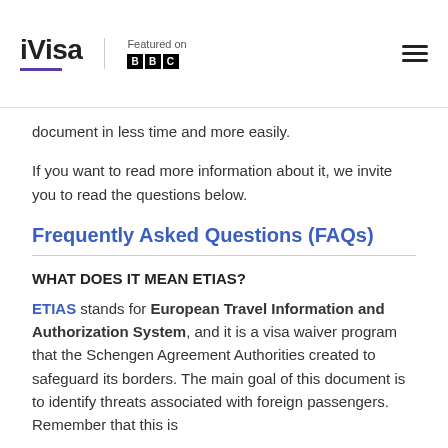iVisa — Featured on BBC
document in less time and more easily.
If you want to read more information about it, we invite you to read the questions below.
Frequently Asked Questions (FAQs)
WHAT DOES IT MEAN ETIAS?
ETIAS stands for European Travel Information and Authorization System, and it is a visa waiver program that the Schengen Agreement Authorities created to safeguard its borders. The main goal of this document is to identify threats associated with foreign passengers. Remember that this is necessary not only to preserve the safety of the